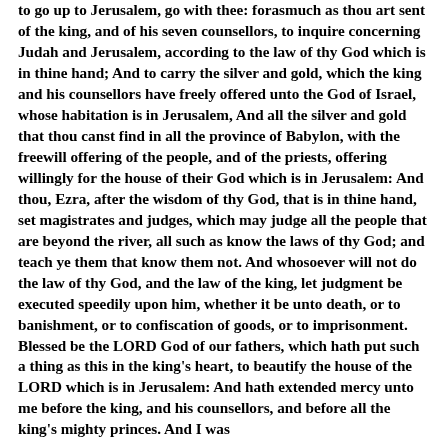to go up to Jerusalem, go with thee: forasmuch as thou art sent of the king, and of his seven counsellors, to inquire concerning Judah and Jerusalem, according to the law of thy God which is in thine hand; And to carry the silver and gold, which the king and his counsellors have freely offered unto the God of Israel, whose habitation is in Jerusalem, And all the silver and gold that thou canst find in all the province of Babylon, with the freewill offering of the people, and of the priests, offering willingly for the house of their God which is in Jerusalem: And thou, Ezra, after the wisdom of thy God, that is in thine hand, set magistrates and judges, which may judge all the people that are beyond the river, all such as know the laws of thy God; and teach ye them that know them not. And whosoever will not do the law of thy God, and the law of the king, let judgment be executed speedily upon him, whether it be unto death, or to banishment, or to confiscation of goods, or to imprisonment. Blessed be the LORD God of our fathers, which hath put such a thing as this in the king's heart, to beautify the house of the LORD which is in Jerusalem: And hath extended mercy unto me before the king, and his counsellors, and before all the king's mighty princes. And I was